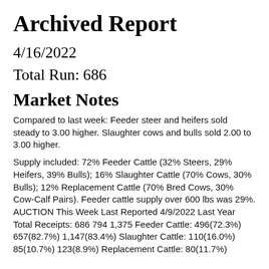Archived Report
4/16/2022
Total Run: 686
Market Notes
Compared to last week: Feeder steer and heifers sold steady to 3.00 higher. Slaughter cows and bulls sold 2.00 to 3.00 higher.
Supply included: 72% Feeder Cattle (32% Steers, 29% Heifers, 39% Bulls); 16% Slaughter Cattle (70% Cows, 30% Bulls); 12% Replacement Cattle (70% Bred Cows, 30% Cow-Calf Pairs). Feeder cattle supply over 600 lbs was 29%. AUCTION This Week Last Reported 4/9/2022 Last Year Total Receipts: 686 794 1,375 Feeder Cattle: 496(72.3%) 657(82.7%) 1,147(83.4%) Slaughter Cattle: 110(16.0%) 85(10.7%) 123(8.9%) Replacement Cattle: 80(11.7%)